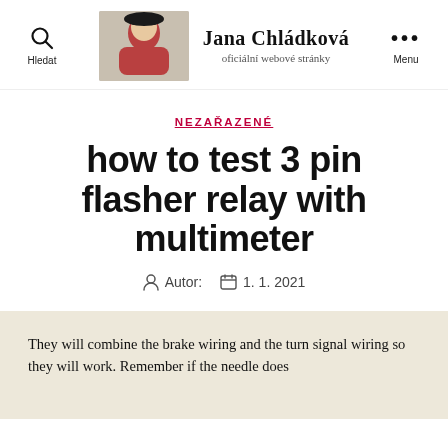Jana Chládková — oficiální webové stránky
NEZAŘAZENÉ
how to test 3 pin flasher relay with multimeter
Autor:  1. 1. 2021
They will combine the brake wiring and the turn signal wiring so they will work. Remember if the needle does